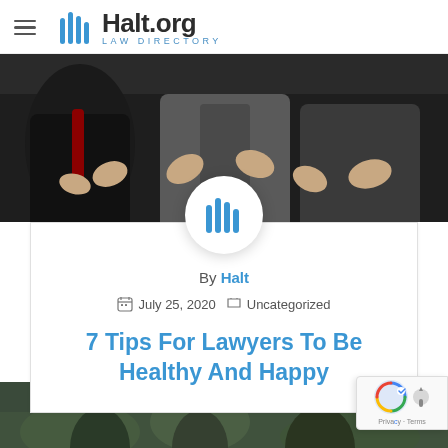Halt.org Law Directory
[Figure (photo): Professional photo of people in business attire, appearing to be lawyers or business people in discussion, dark background]
[Figure (logo): Halt.org hand logo circular avatar]
By Halt
July 25, 2020  Uncategorized
7 Tips For Lawyers To Be Healthy And Happy
[Figure (photo): Partial view of an outdoor photo at the bottom of the page]
[Figure (other): Google reCAPTCHA badge in bottom right corner]